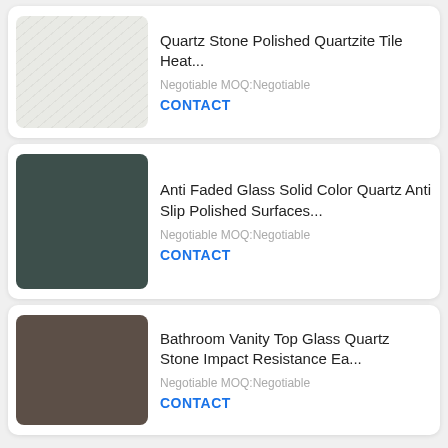[Figure (photo): Light grey/white textured quartz stone surface]
Quartz Stone Polished Quartzite Tile Heat...
Negotiable MOQ:Negotiable
CONTACT
[Figure (photo): Dark teal/green solid color quartz panel]
Anti Faded Glass Solid Color Quartz Anti Slip Polished Surfaces...
Negotiable MOQ:Negotiable
CONTACT
[Figure (photo): Dark brown/taupe solid color quartz panel]
Bathroom Vanity Top Glass Quartz Stone Impact Resistance Ea...
Negotiable MOQ:Negotiable
CONTACT